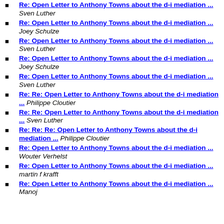Re: Open Letter to Anthony Towns about the d-i mediation ... Sven Luther
Re: Open Letter to Anthony Towns about the d-i mediation ... Joey Schulze
Re: Open Letter to Anthony Towns about the d-i mediation ... Sven Luther
Re: Open Letter to Anthony Towns about the d-i mediation ... Joey Schulze
Re: Open Letter to Anthony Towns about the d-i mediation ... Sven Luther
Re: Re: Open Letter to Anthony Towns about the d-i mediation ... Philippe Cloutier
Re: Re: Open Letter to Anthony Towns about the d-i mediation ... Sven Luther
Re: Re: Re: Open Letter to Anthony Towns about the d-i mediation ... Philippe Cloutier
Re: Open Letter to Anthony Towns about the d-i mediation ... Wouter Verhelst
Re: Open Letter to Anthony Towns about the d-i mediation ... martin f krafft
Re: Open Letter to Anthony Towns about the d-i mediation ... Manoj